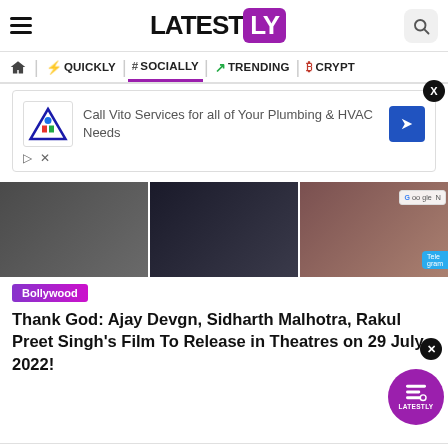LATESTLY
QUICKLY | # SOCIALLY | TRENDING | CRYPTO
[Figure (screenshot): Advertisement: Call Vito Services for all of Your Plumbing & HVAC Needs]
[Figure (photo): Three Bollywood celebrity photos in a horizontal strip]
Bollywood
Thank God: Ajay Devgn, Sidharth Malhotra, Rakul Preet Singh's Film To Release in Theatres on 29 July, 2022!
[Figure (screenshot): Advertisement: Firestone Tire Offer - Virginia Tire & Auto of Ashburn]